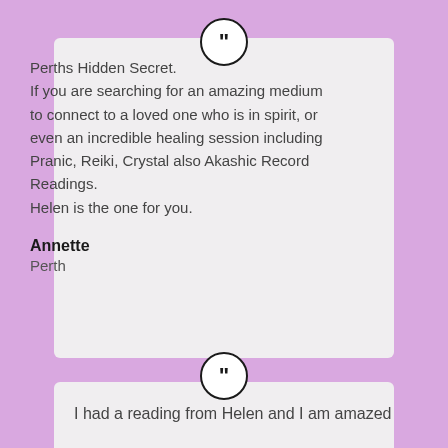[Figure (illustration): Large closing quotation mark icon inside a circle, black border on white background, centered above the first testimonial card]
Perths Hidden Secret.
If you are searching for an amazing medium to connect to a loved one who is in spirit, or even an incredible healing session including Pranic, Reiki, Crystal also Akashic Record Readings.
Helen is the one for you.
Annette
Perth
[Figure (illustration): Large closing quotation mark icon inside a circle, black border on white background, centered above the second testimonial card]
I had a reading from Helen and I am amazed